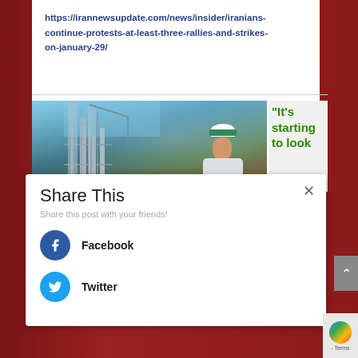https://irannewsupdate.com/news/insider/iranians-continue-protests-at-least-three-rallies-and-strikes-on-january-29/
[Figure (photo): Industrial refinery or oil facility with towers/columns, and a smiling worker wearing a white hard hat with a green emblem, dressed in a light-colored work suit]
“It’s starting to look
Share This
Share this post with your friends!
Facebook
Twitter